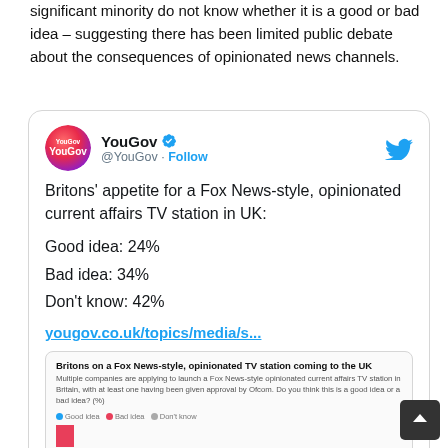significant minority do not know whether it is a good or bad idea – suggesting there has been limited public debate about the consequences of opinionated news channels.
[Figure (screenshot): A YouGov tweet showing survey results: Britons' appetite for a Fox News-style, opinionated current affairs TV station in UK: Good idea: 24%, Bad idea: 34%, Don't know: 42%. Includes a link yougov.co.uk/topics/media/s... and a preview of a YouGov survey chart.]